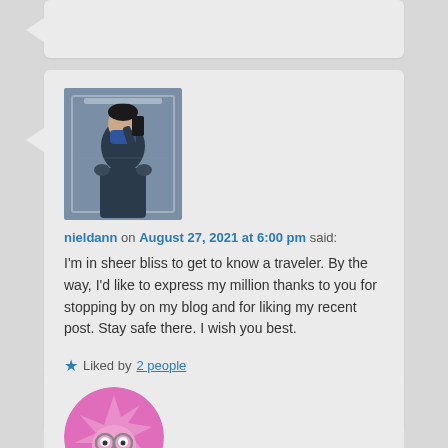[Figure (photo): Partial top of a blog comment card, gray background, truncated.]
[Figure (photo): Avatar image: person taking a mirror selfie wearing a mask and denim jacket.]
nieldann on August 27, 2021 at 6:00 pm said:
I'm in sheer bliss to get to know a traveler. By the way, I'd like to express my million thanks to you for stopping by on my blog and for liking my recent post. Stay safe there. I wish you best.
★ Liked by 2 people
Reply ↓
[Figure (photo): Partial bottom comment card showing a pink cartoon character avatar with glasses.]